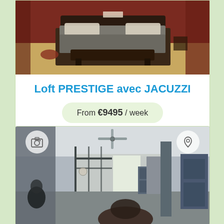[Figure (photo): Bedroom interior with dark bed frame, gray bedding, dark wood furniture on warm reddish-brown flooring with dark red walls]
Loft PRESTIGE avec JACUZZI
From €9495 / week
Book Now
[Figure (photo): Interior loft space with glass partition walls, open plan living area with kitchen, ceiling fan, blue door visible on right, dark flooring]